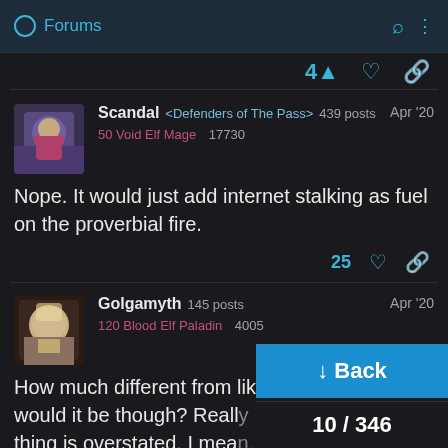Forums
Scandal <Defenders of The Pass> 439 posts  Apr '20
50 Void Elf Mage  17730

Nope. It would just add internet stalking as fuel on the proverbial fire.

25
Golgamyth  145 posts  Apr '20
120 Blood Elf Paladin  4005

How much different from like a Wo... account would it be though? Really I think the stalking thing is overstated. I mea... I'm sure